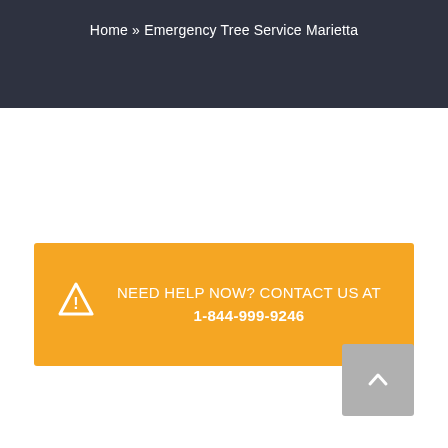Home » Emergency Tree Service Marietta
NEED HELP NOW? CONTACT US AT 1-844-999-9246
[Figure (other): Scroll to top button with upward chevron arrow on a gray rounded rectangle background]